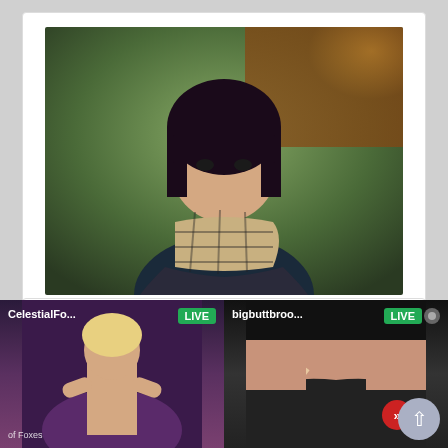[Figure (photo): Profile photo of a young woman with dark hair and bangs wearing a plaid scarf and dark jacket, outdoors with autumn foliage in background]
REAL GIRL WILL DO ANYTHING YOU WANT. 100% OPENMINDED GFE WITH NO RUSH
Posted in: Phone & Websites
San Jose ·California New User
[Figure (other): Second listing card with camera placeholder icon and X close button]
[Figure (screenshot): Live stream thumbnails bar showing two live streams: CelestialFo... LIVE and bigbuttbroo... LIVE with forward arrow button and scroll-up button]